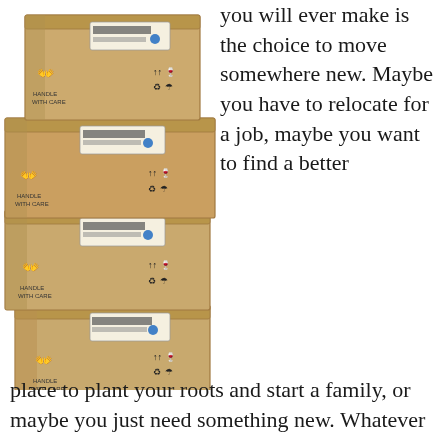[Figure (photo): A tall stack of cardboard moving/shipping boxes with standard shipping symbols (handle with care, fragile, recycle, umbrella) and shipping labels with barcodes on them.]
you will ever make is the choice to move somewhere new. Maybe you have to relocate for a job, maybe you want to find a better place to plant your roots and start a family, or maybe you just need something new. Whatever